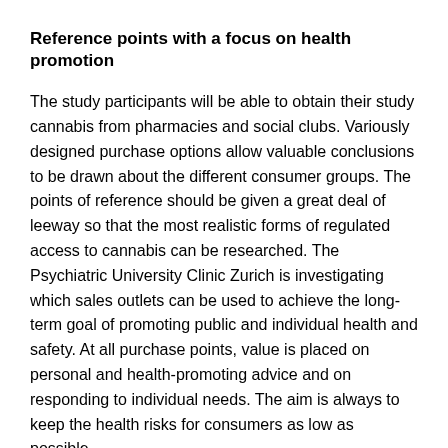Reference points with a focus on health promotion
The study participants will be able to obtain their study cannabis from pharmacies and social clubs. Variously designed purchase options allow valuable conclusions to be drawn about the different consumer groups. The points of reference should be given a great deal of leeway so that the most realistic forms of regulated access to cannabis can be researched. The Psychiatric University Clinic Zurich is investigating which sales outlets can be used to achieve the long-term goal of promoting public and individual health and safety. At all purchase points, value is placed on personal and health-promoting advice and on responding to individual needs. The aim is always to keep the health risks for consumers as low as possible.